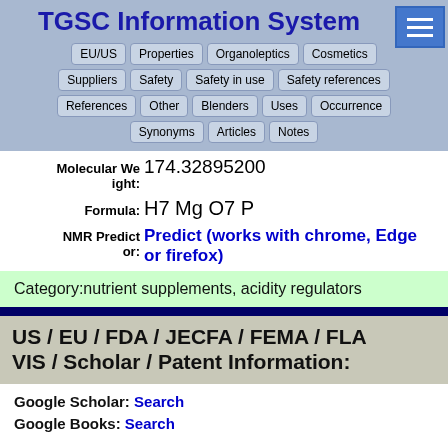TGSC Information System
EU/US | Properties | Organoleptics | Cosmetics | Suppliers | Safety | Safety in use | Safety references | References | Other | Blenders | Uses | Occurrence | Synonyms | Articles | Notes
Molecular Weight: 174.32895200
Formula: H7 Mg O7 P
NMR Predict or: Predict (works with chrome, Edge or firefox)
Category:nutrient supplements, acidity regulators
US / EU / FDA / JECFA / FEMA / FLAVIS / Scholar / Patent Information:
Google Scholar: Search
Google Books: Search